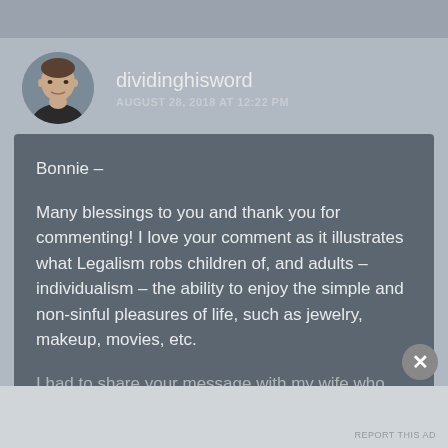[Figure (photo): Circular avatar photo of a person (male, wearing dark shirt) used as a profile picture for the commenter 'dividinghisword']
dividinghisword
AUGUST 28, 2018 AT 12:22 PM
Bonnie –

Many blessings to you and thank you for commenting! I love your comment as it illustrates what Legalism robs children of, and adults – individualism – the ability to enjoy the simple and non-sinful pleasures of life, such as jewelry, makeup, movies, etc.

I had to share your message with my wife who has